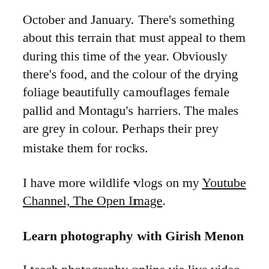October and January. There's something about this terrain that must appeal to them during this time of the year. Obviously there's food, and the colour of the drying foliage beautifully camouflages female pallid and Montagu's harriers. The males are grey in colour. Perhaps their prey mistake them for rocks.
I have more wildlife vlogs on my Youtube Channel, The Open Image.
Learn photography with Girish Menon
I teach photography online via live video calls—